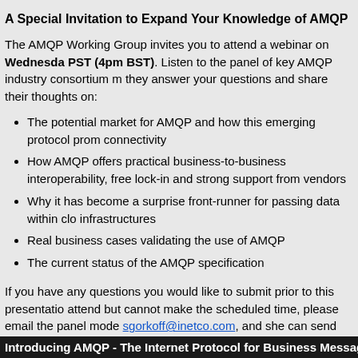A Special Invitation to Expand Your Knowledge of AMQP
The AMQP Working Group invites you to attend a webinar on Wednesday, PST (4pm BST). Listen to the panel of key AMQP industry consortium members as they answer your questions and share their thoughts on:
The potential market for AMQP and how this emerging protocol promotes connectivity
How AMQP offers practical business-to-business interoperability, freedom from lock-in and strong support from vendors
Why it has become a surprise front-runner for passing data within cloud infrastructures
Real business cases validating the use of AMQP
The current status of the AMQP specification
If you have any questions you would like to submit prior to this presentation, or attend but cannot make the scheduled time, please email the panel moderator at sgorkoff@inetco.com, and she can send you a link to the recorded version.
Introducing AMQP - The Internet Protocol for Business Messaging